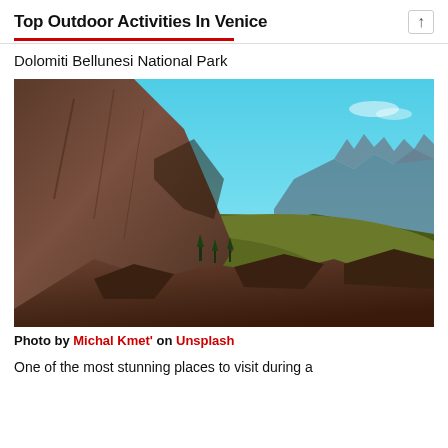Top Outdoor Activities In Venice
Dolomiti Bellunesi National Park
[Figure (photo): Dramatic mountain landscape of the Dolomites with rocky cliffs in the foreground, green alpine meadows, jagged peaks in the distance, and a vivid turquoise-blue sky.]
Photo by Michal Kmet' on Unsplash
One of the most stunning places to visit during a